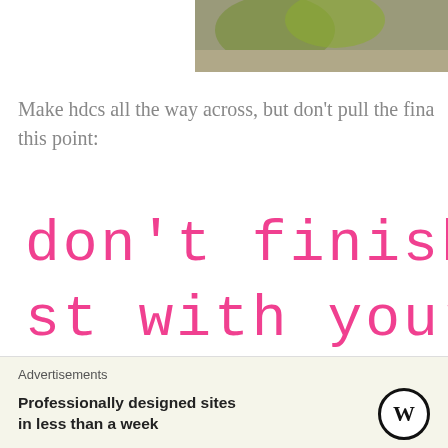[Figure (photo): Partial top photo showing green yarn or plant material on a light background, cropped at top of page]
Make hdcs all the way across, but don't pull the fina this point:
[Figure (illustration): Pink handwritten-style text on white background reading: don't finish t st with your color]
Advertisements
Professionally designed sites in less than a week